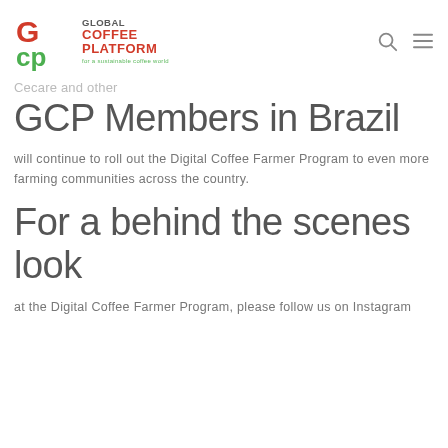Global Coffee Platform — for a sustainable coffee world
Cecare and other GCP Members in Brazil
will continue to roll out the Digital Coffee Farmer Program to even more farming communities across the country.
For a behind the scenes look
at the Digital Coffee Farmer Program, please follow us on Instagram